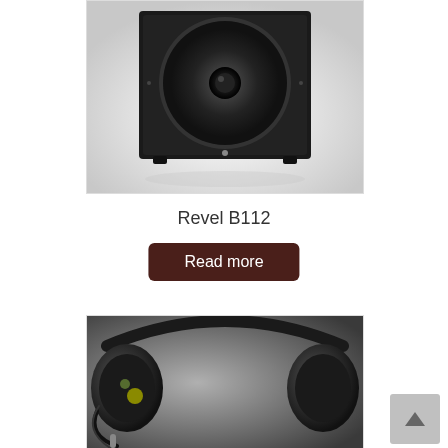[Figure (photo): Black subwoofer speaker (Revel B112) on white background, front view showing large circular driver]
Revel B112
Read more
[Figure (photo): Close-up of black over-ear headphones with cable visible, dark background]